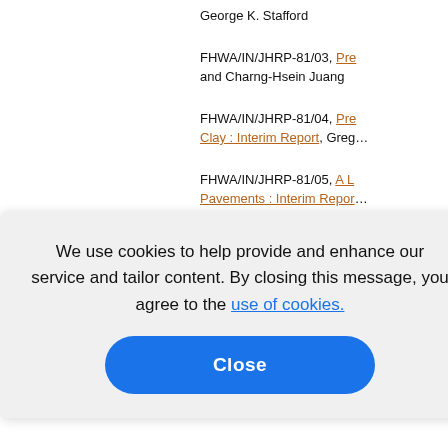George K. Stafford
FHWA/IN/JHRP-81/03, Pre... and Charng-Hsein Juang
FHWA/IN/JHRP-81/04, Pre... Clay : Interim Report, Greg...
FHWA/IN/JHRP-81/05, A L... Pavements : Interim Repor...
FHWA/IN/JHRP-81/06, Imp...
...·81/07, Fra...
...·81/08, Tre...
...·81/09, An... State Highway Commissio...
We use cookies to help provide and enhance our service and tailor content. By closing this message, you agree to the use of cookies.